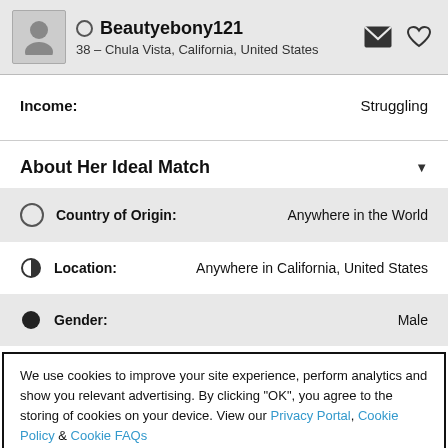Beautyebony121 – 38 – Chula Vista, California, United States
Income: Struggling
About Her Ideal Match
Country of Origin: Anywhere in the World
Location: Anywhere in California, United States
Gender: Male
We use cookies to improve your site experience, perform analytics and show you relevant advertising. By clicking "OK", you agree to the storing of cookies on your device. View our Privacy Portal, Cookie Policy & Cookie FAQs